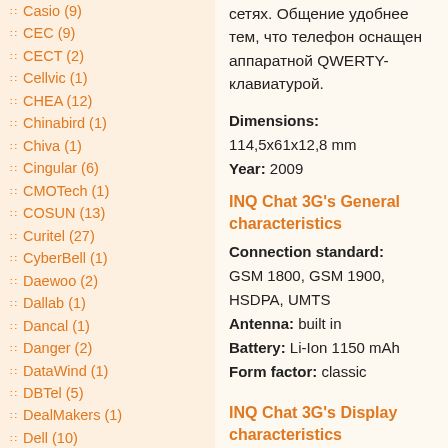Casio (9)
CEC (9)
CECT (2)
Cellvic (1)
CHEA (12)
Chinabird (1)
Chiva (1)
Cingular (6)
CMOTech (1)
COSUN (13)
Curitel (27)
CyberBell (1)
Daewoo (2)
Dallab (1)
Dancal (1)
Danger (2)
DataWind (1)
DBTel (5)
DealMakers (1)
Dell (10)
Densa (1)
D-Link (1)
Dnet (10)
Docomo (3)
Dolphin (1)
Dopod (5)
Doro (2)
Drin.it (7)
сетях. Общение удобнее тем, что телефон оснащен аппаратной QWERTY-клавиатурой.
Dimensions: 114,5x61x12,8 mm
Year: 2009
INQ Chat 3G's General characteristics
Connection standard: GSM 1800, GSM 1900, HSDPA, UMTS
Antenna: built in
Battery: Li-Ion 1150 mAh
Form factor: classic
INQ Chat 3G's Display characteristics